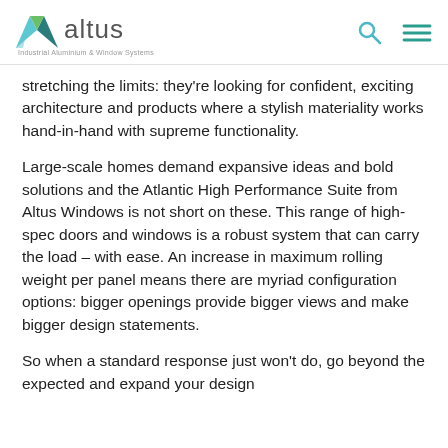altus — Industrial Aluminium & Window Systems
stretching the limits: they’re looking for confident, exciting architecture and products where a stylish materiality works hand-in-hand with supreme functionality.
Large-scale homes demand expansive ideas and bold solutions and the Atlantic High Performance Suite from Altus Windows is not short on these. This range of high-spec doors and windows is a robust system that can carry the load – with ease. An increase in maximum rolling weight per panel means there are myriad configuration options: bigger openings provide bigger views and make bigger design statements.
So when a standard response just won’t do, go beyond the expected and expand your design